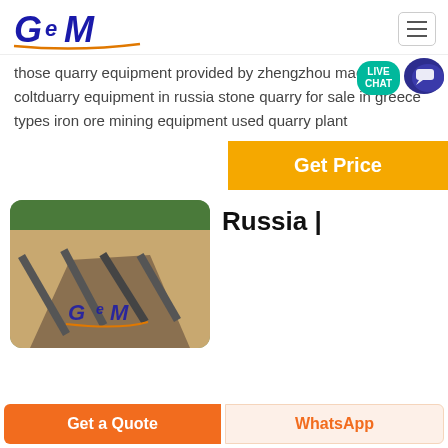[Figure (logo): GCM Machinery logo with stylized blue italic GCM text and orange underline, with GCM MACHINERY subtitle]
those quarry equipment provided by zhengzhou machinery coltduarry equipment in russia stone quarry for sale in greece types iron ore mining equipment used quarry plant
[Figure (other): Live Chat bubble icon in teal/blue]
Get Price
[Figure (photo): Aerial/overhead photograph of a quarry site with conveyor belts and earthmoving machinery, GCM logo watermark visible]
Russia |
Get a Quote
WhatsApp